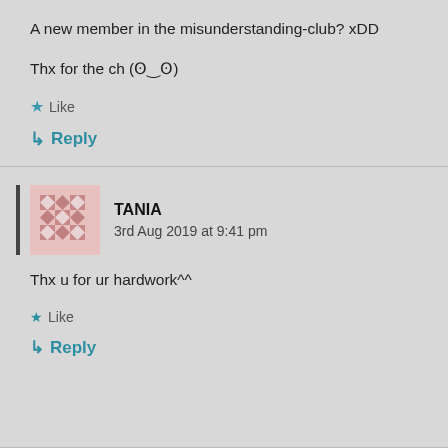A new member in the misunderstanding-club? xDD
Thx for the ch (ʘ‿ʘ)
★ Like
↳ Reply
TANIA
3rd Aug 2019 at 9:41 pm
Thx u for ur hardwork^^
★ Like
↳ Reply